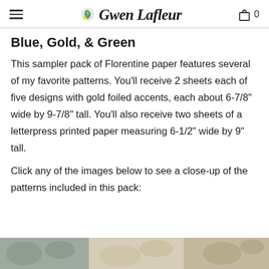Gwen Lafleur
Blue, Gold, & Green
This sampler pack of Florentine paper features several of my favorite patterns. You'll receive 2 sheets each of five designs with gold foiled accents, each about 6-7/8" wide by 9-7/8" tall. You'll also receive two sheets of a letterpress printed paper measuring 6-1/2" wide by 9" tall.
Click any of the images below to see a close-up of the patterns included in this pack:
[Figure (photo): Bottom strip showing decorative Florentine paper pattern images]